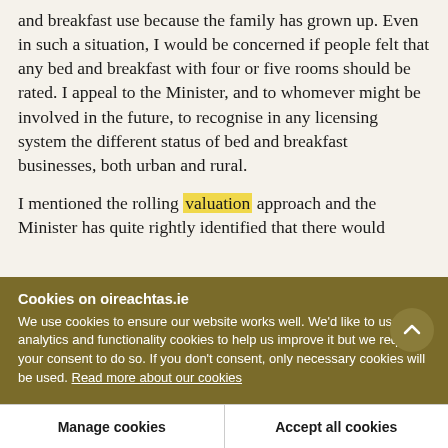and breakfast use because the family has grown up. Even in such a situation, I would be concerned if people felt that any bed and breakfast with four or five rooms should be rated. I appeal to the Minister, and to whomever might be involved in the future, to recognise in any licensing system the different status of bed and breakfast businesses, both urban and rural.
I mentioned the rolling valuation approach and the Minister has quite rightly identified that there would
Cookies on oireachtas.ie
We use cookies to ensure our website works well. We'd like to use analytics and functionality cookies to help us improve it but we require your consent to do so. If you don't consent, only necessary cookies will be used. Read more about our cookies
Manage cookies
Accept all cookies